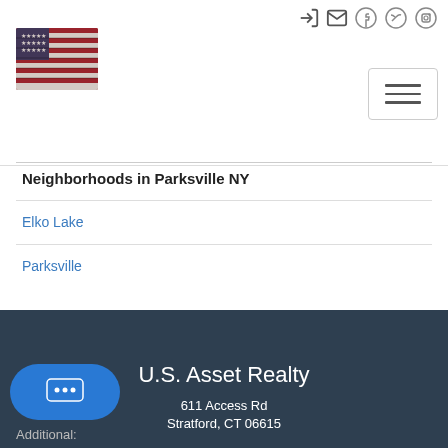[Figure (logo): US flag / American flag image used as logo for U.S. Asset Realty]
[Figure (infographic): Top navigation bar with social icons (login, email, Facebook, Twitter, Instagram) and hamburger menu button]
Neighborhoods in Parksville NY
Elko Lake
Parksville
U.S. Asset Realty
611 Access Rd
Stratford, CT 06615
Additional: